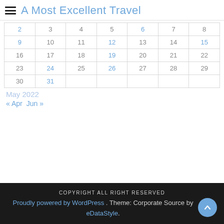A Most Excellent Travel
| 2 | 3 | 4 | 5 | 6 | 7 | 8 |
| 9 | 10 | 11 | 12 | 13 | 14 | 15 |
| 16 | 17 | 18 | 19 | 20 | 21 | 22 |
| 23 | 24 | 25 | 26 | 27 | 28 | 29 |
| 30 | 31 |  |  |  |  |  |
May 2022
« Apr   Jun »
COPYRIGHT ALL RIGHT RESERVED
Proudly powered by WordPress . Theme: Corporate Source by eDataStyle.